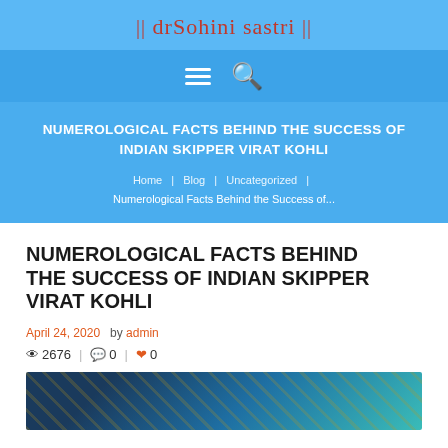|| dr Sohini Sastri ||
NUMEROLOGICAL FACTS BEHIND THE SUCCESS OF INDIAN SKIPPER VIRAT KOHLI
Home | Blog | Uncategorized | Numerological Facts Behind the Success of...
NUMEROLOGICAL FACTS BEHIND THE SUCCESS OF INDIAN SKIPPER VIRAT KOHLI
April 24, 2020  by admin
2676 | 0 | 0
[Figure (photo): Decorative article header image with colorful abstract/astrological motif in dark blue, teal, and gold tones]